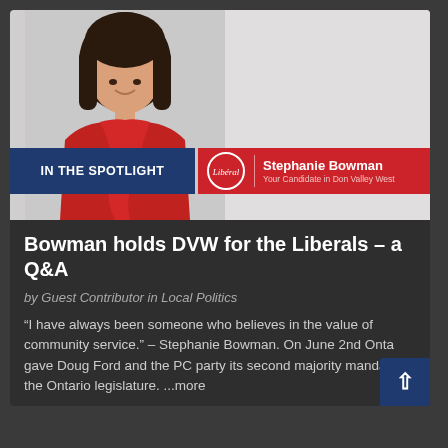[Figure (photo): Campaign image showing Stephanie Bowman in a red outfit with arms crossed, with a blue 'IN THE SPOTLIGHT' banner on the left and a red Liberal party banner on the right reading 'Stephanie Bowman – Your Candidate in Don Valley West' with Liberal Party logo]
Bowman holds DVW for the Liberals – a Q&A
by Guest Contributor in Local Politics
“I have always been someone who believes in the value of community service.” – Stephanie Bowman. On June 2nd Ontario gave Doug Ford and the PC party its second majority mandate in the Ontario legislature. ...more